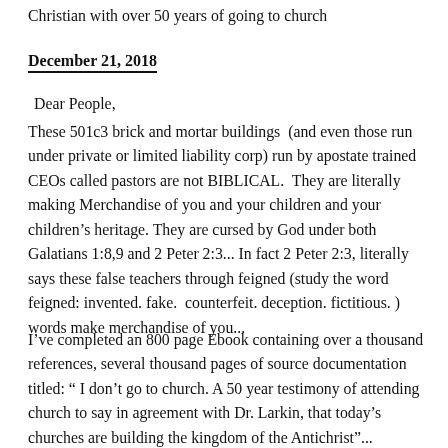Christian with over 50 years of going to church
December 21, 2018
Dear People,
These 501c3 brick and mortar buildings (and even those run under private or limited liability corp) run by apostate trained CEOs called pastors are not BIBLICAL. They are literally making Merchandise of you and your children and your children's heritage. They are cursed by God under both Galatians 1:8,9 and 2 Peter 2:3... In fact 2 Peter 2:3, literally says these false teachers through feigned (study the word feigned: invented. fake. counterfeit. deception. fictitious. ) words make merchandise of you...
I've completed an 800 page Ebook containing over a thousand references, several thousand pages of source documentation titled: “ I don’t go to church. A 50 year testimony of attending church to say in agreement with Dr. Larkin, that today’s churches are building the kingdom of the Antichrist”...